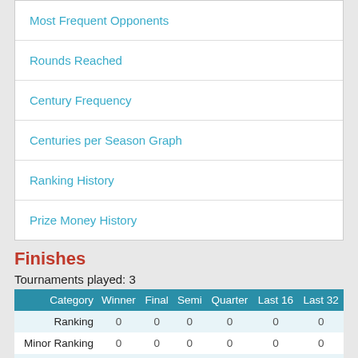Most Frequent Opponents
Rounds Reached
Century Frequency
Centuries per Season Graph
Ranking History
Prize Money History
Finishes
Tournaments played: 3
| Category | Winner | Final | Semi | Quarter | Last 16 | Last 32 |
| --- | --- | --- | --- | --- | --- | --- |
| Ranking | 0 | 0 | 0 | 0 | 0 | 0 |
| Minor Ranking | 0 | 0 | 0 | 0 | 0 | 0 |
| Non-ranking | 0 | 0 | 0 | 0 | 0 | 0 |
| League | 0 | 0 | 0 | 0 | 0 | 0 |
| Invitational | 0 | 0 | 0 | 0 | 0 | 0 |